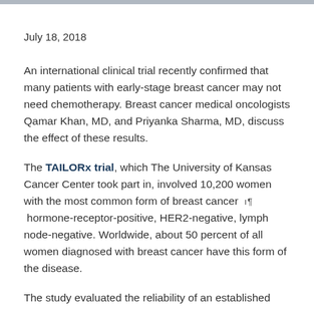July 18, 2018
An international clinical trial recently confirmed that many patients with early-stage breast cancer may not need chemotherapy. Breast cancer medical oncologists Qamar Khan, MD, and Priyanka Sharma, MD, discuss the effect of these results.
The TAILORx trial, which The University of Kansas Cancer Center took part in, involved 10,200 women with the most common form of breast cancer — hormone-receptor-positive, HER2-negative, lymph node-negative. Worldwide, about 50 percent of all women diagnosed with breast cancer have this form of the disease.
The study evaluated the reliability of an established